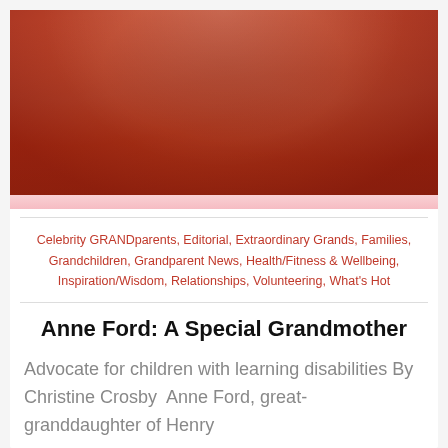[Figure (photo): Close-up photo of a person wearing a red zip-up jacket with a gold necklace, standing outdoors with snow in the background.]
Celebrity GRANDparents, Editorial, Extraordinary Grands, Families, Grandchildren, Grandparent News, Health/Fitness & Wellbeing, Inspiration/Wisdom, Relationships, Volunteering, What's Hot
Anne Ford: A Special Grandmother
Advocate for children with learning disabilities By Christine Crosby   Anne Ford, great-granddaughter of Henry